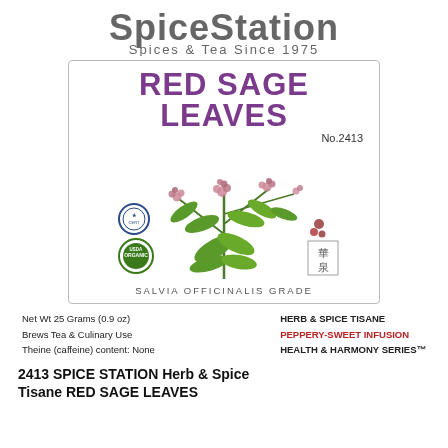[Figure (logo): SpiceStation brand logo with text 'SpiceStation Spices & Tea Since 1975']
[Figure (illustration): Red sage (Salvia officinalis) botanical illustration showing flowering plant with pink/red flowers and green leaves, with USDA Organic seal, blue certification seal, and Chinese characters. Text: RED SAGE LEAVES No.2413, SALVIA OFFICINALIS GRADE]
Net Wt 25 Grams (0.9 oz)   HERB & SPICE TISANE
Brews Tea & Culinary Use   PEPPERY-SWEET INFUSION
Theine (caffeine) content: None   HEALTH & HARMONY SERIES™
2413 SPICE STATION Herb & Spice Tisane RED SAGE LEAVES